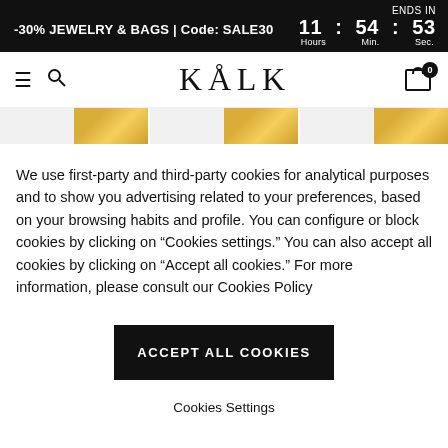-30% JEWELRY & BAGS | Code: SALE30  ENDS IN  11 : 54 : 53  Hours  Min.  Sec.
[Figure (screenshot): KÅLK website navigation bar with hamburger menu, search icon, KÅLK logo, and cart icon with badge showing 0]
[Figure (photo): Partial image strip showing gold jewelry rings on light background]
We use first-party and third-party cookies for analytical purposes and to show you advertising related to your preferences, based on your browsing habits and profile. You can configure or block cookies by clicking on "Cookies settings." You can also accept all cookies by clicking on "Accept all cookies." For more information, please consult our Cookies Policy
ACCEPT ALL COOKIES
Cookies Settings